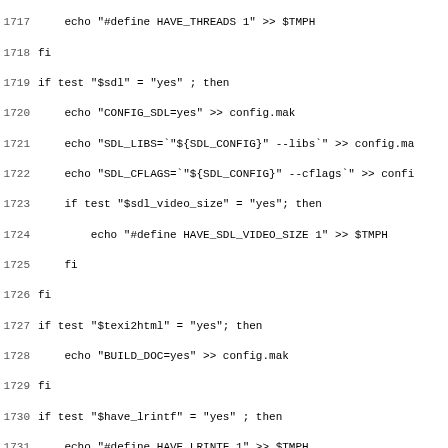Source code listing, lines 1717-1748+, shell script configuration code